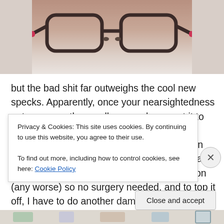[Figure (photo): Photo of eyeglasses with dark frames and pink/red temple tips, viewed from the front, lying on a light surface]
but the bad shit far outweighs the cool new specks. Apparently, once your nearsightedness gets so poor, they really can only correct it to point. So, I'm pretty close to that point. eventually I'll just have horrible central vision even with glasses. also, I apparently have a small cataract. but it's not impairing my vision (any worse) so no surgery needed. and to top it off, I have to do another damn field vision test because of my RP and crappy
Privacy & Cookies: This site uses cookies. By continuing to use this website, you agree to their use.
To find out more, including how to control cookies, see here: Cookie Policy
Close and accept